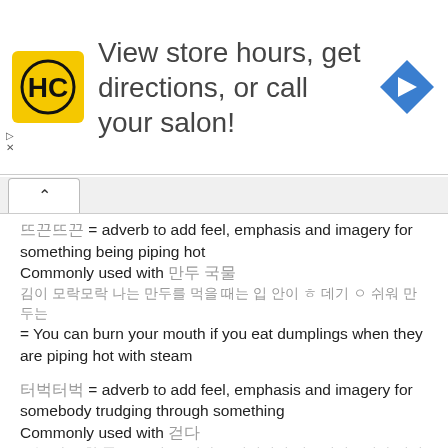[Figure (infographic): Advertisement banner: HC logo (yellow square with HC text), text 'View store hours, get directions, or call your salon!', blue diamond arrow icon, with play and close controls]
뜨끈뜨끈 = adverb to add feel, emphasis and imagery for something being piping hot
Commonly used with 만두 국물
김이 모락모락 나는 만두를 먹을 때는 입 안이 ㅎ 데기 ㅇ 쉬워 만두는
= You can burn your mouth if you eat dumplings when they are piping hot with steam
터벅터벅 = adverb to add feel, emphasis and imagery for somebody trudging through something
Commonly used with 걷다
오늘 하루 한 푼도 못 번 그 남자는 터벅터벅 걷고있었습니다 걸어서 집 으로 왔다
= The man, who didn't earn a single dime today, trudged along home